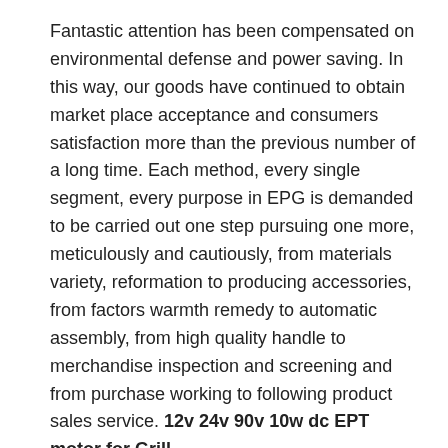Fantastic attention has been compensated on environmental defense and power saving. In this way, our goods have continued to obtain market place acceptance and consumers satisfaction more than the previous number of a long time. Each method, every single segment, every purpose in EPG is demanded to be carried out one step pursuing one more, meticulously and cautiously, from materials variety, reformation to producing accessories, from factors warmth remedy to automatic assembly, from high quality handle to merchandise inspection and screening and from purchase working to following product sales service. 12v 24v 90v 10w dc EPT motor for Grill
one.EPT technical specs:
1). EPT dimensions: sixty*60
two). EPT EPT: 6W/10W
3). EPT pace: 3200r/min
four). EPT voltage: 12V/24V/90VDC
five). Reduction ratio: three 3.6 5 six seven.five 9 10 12.5 15